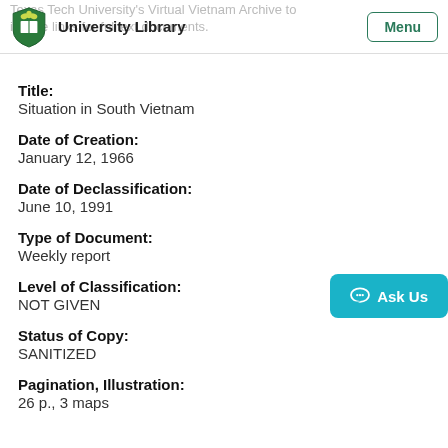University Library | Menu
Title:
Situation in South Vietnam
Date of Creation:
January 12, 1966
Date of Declassification:
June 10, 1991
Type of Document:
Weekly report
Level of Classification:
NOT GIVEN
Status of Copy:
SANITIZED
Pagination, Illustration:
26 p., 3 maps